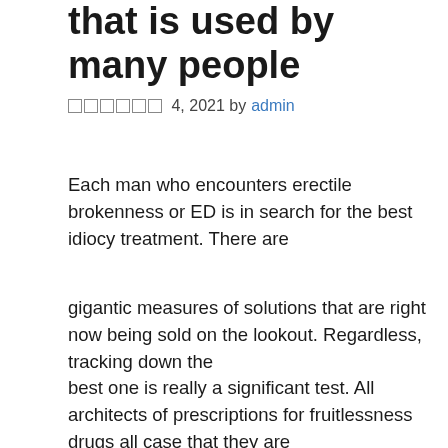that is used by many people
□□□□□□ 4, 2021 by admin
Each man who encounters erectile brokenness or ED is in search for the best idiocy treatment. There are
gigantic measures of solutions that are right now being sold on the lookout. Regardless, tracking down the
best one is really a significant test. All architects of prescriptions for fruitlessness drugs all case that they are